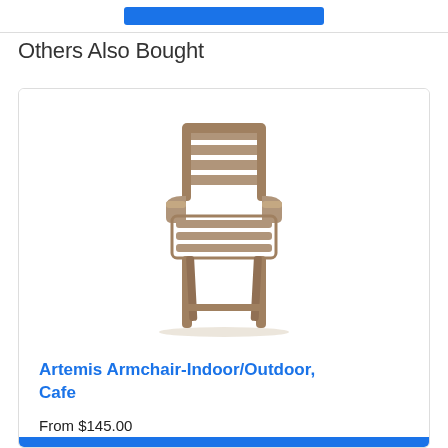Others Also Bought
[Figure (photo): A taupe/beige plastic armchair with horizontal slat backrest and armrests, suitable for indoor/outdoor use. The chair is shown on a white background.]
Artemis Armchair-Indoor/Outdoor, Cafe
From $145.00